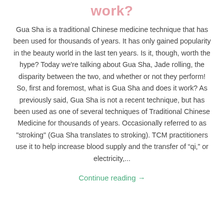work?
Gua Sha is a traditional Chinese medicine technique that has been used for thousands of years. It has only gained popularity in the beauty world in the last ten years. Is it, though, worth the hype? Today we're talking about Gua Sha, Jade rolling, the disparity between the two, and whether or not they perform! So, first and foremost, what is Gua Sha and does it work? As previously said, Gua Sha is not a recent technique, but has been used as one of several techniques of Traditional Chinese Medicine for thousands of years. Occasionally referred to as "stroking" (Gua Sha translates to stroking). TCM practitioners use it to help increase blood supply and the transfer of “qi,” or electricity,...
Continue reading →